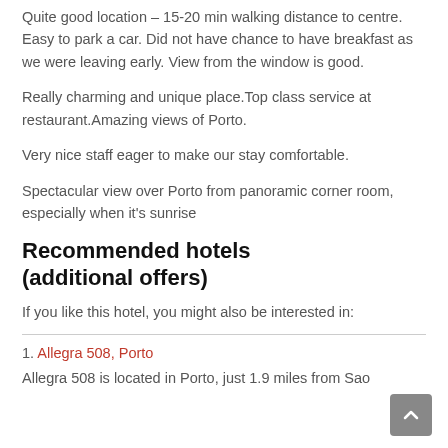Quite good location – 15-20 min walking distance to centre. Easy to park a car. Did not have chance to have breakfast as we were leaving early. View from the window is good.
Really charming and unique place.Top class service at restaurant.Amazing views of Porto.
Very nice staff eager to make our stay comfortable.
Spectacular view over Porto from panoramic corner room, especially when it's sunrise
Recommended hotels (additional offers)
If you like this hotel, you might also be interested in:
1. Allegra 508, Porto
Allegra 508 is located in Porto, just 1.9 miles from Sao Joao General Hospital. A flat screen TV with cable…